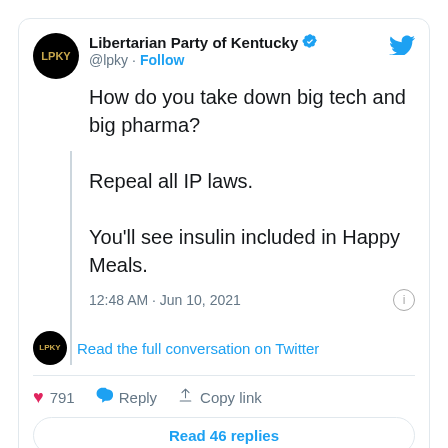[Figure (screenshot): Twitter/X screenshot of a tweet by Libertarian Party of Kentucky (@lpky) with verified badge. Tweet reads: 'How do you take down big tech and big pharma? Repeal all IP laws. You'll see insulin included in Happy Meals.' Posted at 12:48 AM · Jun 10, 2021. Has 791 likes. Includes 'Read the full conversation on Twitter' link and 'Read 46 replies' button.]
To which one @libertascoco responded with this snipe: